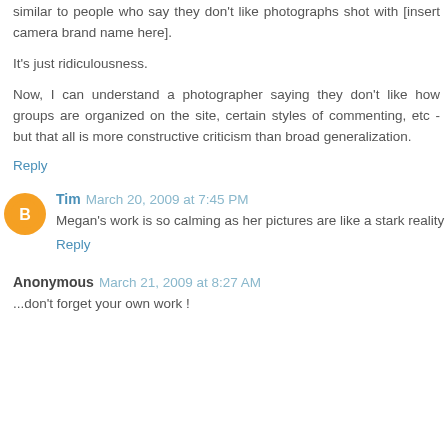similar to people who say they don't like photographs shot with [insert camera brand name here].
It's just ridiculousness.
Now, I can understand a photographer saying they don't like how groups are organized on the site, certain styles of commenting, etc - but that all is more constructive criticism than broad generalization.
Reply
Tim  March 20, 2009 at 7:45 PM
Megan's work is so calming as her pictures are like a stark reality
Reply
Anonymous  March 21, 2009 at 8:27 AM
...don't forget your own work !